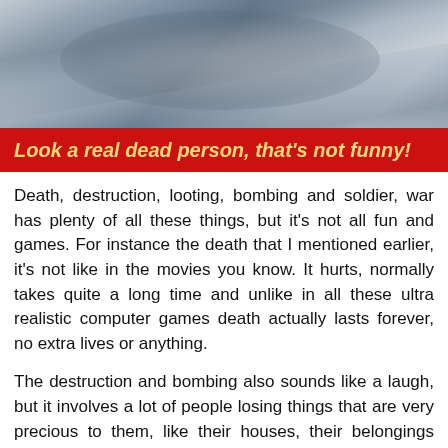[Figure (photo): Photograph of a person wrapped in gray/blue fabric or cloth, appears to be a war-related image showing a body]
Look a real dead person, that's not funny!
Death, destruction, looting, bombing and soldier, war has plenty of all these things, but it's not all fun and games. For instance the death that I mentioned earlier, it's not like in the movies you know. It hurts, normally takes quite a long time and unlike in all these ultra realistic computer games death actually lasts forever, no extra lives or anything.
The destruction and bombing also sounds like a laugh, but it involves a lot of people losing things that are very precious to them, like their houses, their belongings and their limbs and unlike here most people don't have full contents insurance, in fact very few people even have third party fire and theft. All